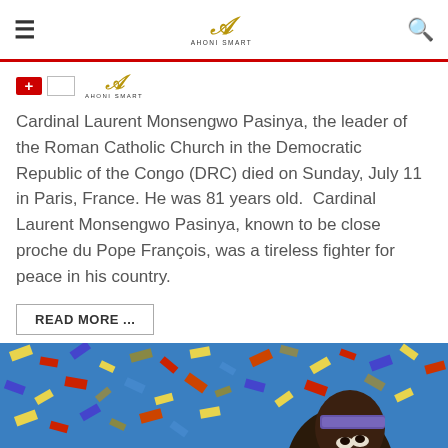≡  [Ahoni Smart logo]  🔍
[Figure (logo): Ahoni Smart logo with flag icon and inline brand mark]
Cardinal Laurent Monsengwo Pasinya, the leader of the Roman Catholic Church in the Democratic Republic of the Congo (DRC) died on Sunday, July 11 in Paris, France. He was 81 years old.  Cardinal Laurent Monsengwo Pasinya, known to be close proche du Pope François, was a tireless fighter for peace in his country.
READ MORE ...
[Figure (photo): A woman looking upward with colorful confetti falling around her against a blue background]